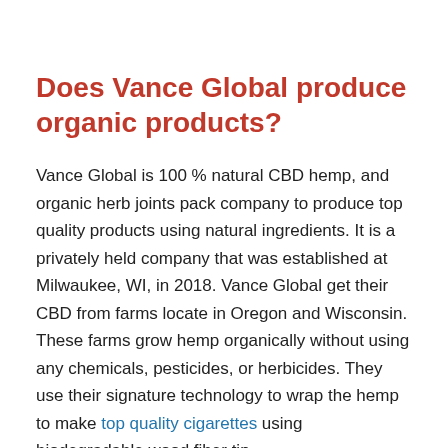Does Vance Global produce organic products?
Vance Global is 100 % natural CBD hemp, and organic herb joints pack company to produce top quality products using natural ingredients. It is a privately held company that was established at Milwaukee, WI, in 2018. Vance Global get their CBD from farms locate in Oregon and Wisconsin. These farms grow hemp organically without using any chemicals, pesticides, or herbicides. They use their signature technology to wrap the hemp to make top quality cigarettes using biodegradable wood fiber tip.
Their products are third-party lab tested at three different